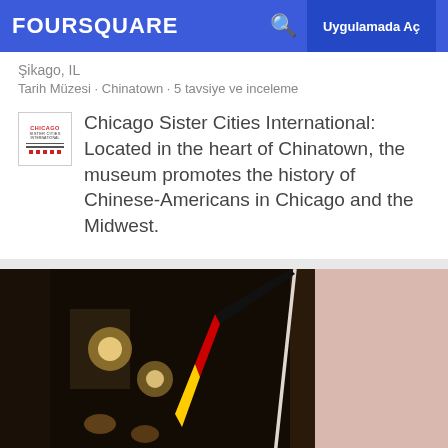FOURSQUARE  Uygulamada Aç
Şikago, IL
Tarih Müzesi · Chinatown · 5 tavsiye ve inceleme
Chicago Sister Cities International: Located in the heart of Chinatown, the museum promotes the history of Chinese-Americans in Chicago and the Midwest.
[Figure (photo): Indoor photo showing a German flag hanging near a dark doorway with lights visible in the background and a pink/beige wall on the right.]